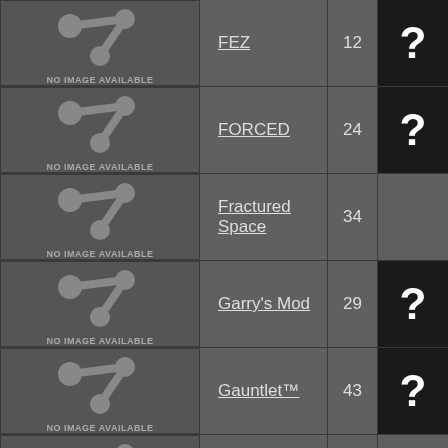| Image | Game Name | Count | ? |
| --- | --- | --- | --- |
| NO IMAGE AVAILABLE | FEZ | 12 | ? |
| NO IMAGE AVAILABLE | FORCED | 24 | ? |
| NO IMAGE AVAILABLE | Fractured Space | 34 |  |
| NO IMAGE AVAILABLE | Garry's Mod | 29 | ? |
| NO IMAGE AVAILABLE | Gauntlet™ | 43 | ? |
| NO IMAGE AVAILABLE | Gone Home | 10 |  |